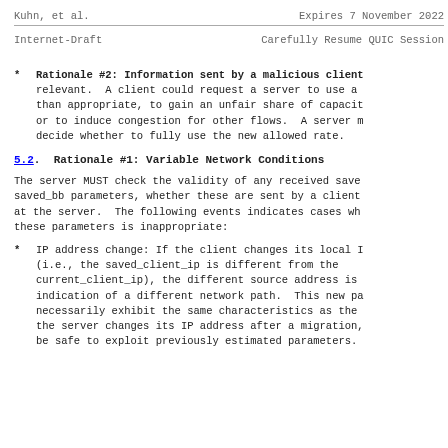Kuhn, et al.                    Expires 7 November 2022
Internet-Draft           Carefully Resume QUIC Session
Rationale #2: Information sent by a malicious client relevant.  A client could request a server to use a than appropriate, to gain an unfair share of capacit or to induce congestion for other flows.  A server m decide whether to fully use the new allowed rate.
5.2.  Rationale #1: Variable Network Conditions
The server MUST check the validity of any received save saved_bb parameters, whether these are sent by a client at the server.  The following events indicates cases wh these parameters is inappropriate:
IP address change: If the client changes its local I (i.e., the saved_client_ip is different from the current_client_ip), the different source address is indication of a different network path.  This new pa necessarily exhibit the same characteristics as the the server changes its IP address after a migration, be safe to exploit previously estimated parameters.